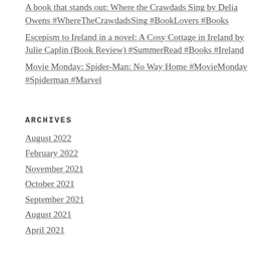A book that stands out: Where the Crawdads Sing by Delia Owens #WhereTheCrawdadsSing #BookLovers #Books
Escepism to Ireland in a novel: A Cosy Cottage in Ireland by Julie Caplin (Book Review) #SummerRead #Books #Ireland
Movie Monday: Spider-Man: No Way Home #MovieMonday #Spiderman #Marvel
ARCHIVES
August 2022
February 2022
November 2021
October 2021
September 2021
August 2021
April 2021